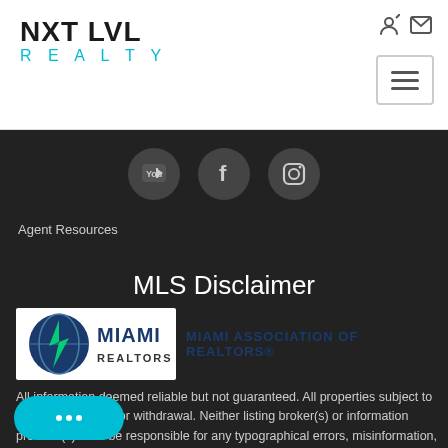[Figure (logo): NXT LVL REALTY logo — NXT LVL in bold black, REALTY in cyan spaced letters]
[Figure (infographic): YouTube, Facebook, and Instagram social media icons as dark circles]
Agent Resources
MLS Disclaimer
[Figure (logo): Miami Realtors logo with globe graphic]
MIAMI ASSOCIATION OF REALTORS®
All information deemed reliable but not guaranteed. All properties subject to prior sale, change or withdrawal. Neither listing broker(s) or information provider(s) shall be responsible for any typographical errors, misinformation, misprints and shall be held totally harmless.